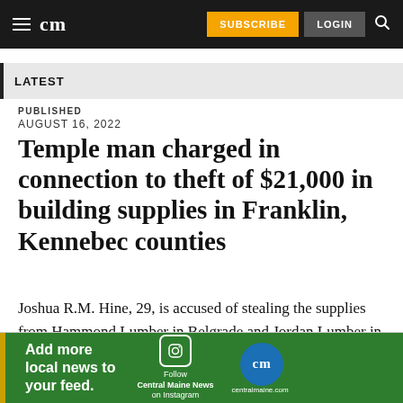cm | SUBSCRIBE | LOGIN
LATEST
PUBLISHED
AUGUST 16, 2022
Temple man charged in connection to theft of $21,000 in building supplies in Franklin, Kennebec counties
Joshua R.M. Hine, 29, is accused of stealing the supplies from Hammond Lumber in Belgrade and Jordan Lumber in Kingfield. All materials were returned to businesses.
[Figure (infographic): Advertisement banner: 'Add more local news to your feed.' with Instagram icon, Follow Central Maine News on Instagram, cm logo, centralmaine.com]